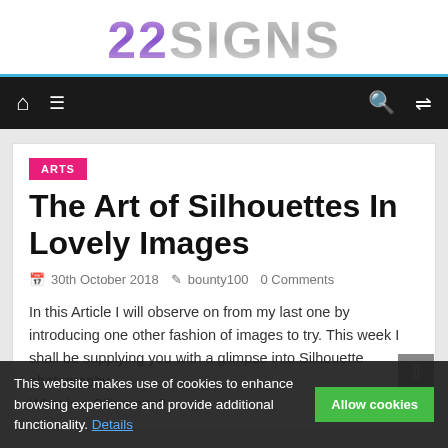22SIGNS
[Figure (screenshot): Navigation bar with home icon, hamburger menu, search icon, and shuffle icon on dark background]
ARTS
The Art of Silhouettes In Lovely Images
30th October 2018   bounty100   0 Comments
In this Article I will observe on from my last one by introducing one other fashion of images to try. This week I shall be supplying you with a glimpse into Silhouette photography.
What is a Silhouette?
This website makes use of cookies to enhance browsing experience and provide additional functionality. Details   Allow cookies